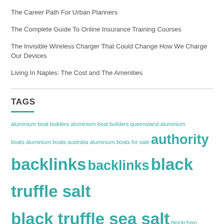The Career Path For Urban Planners
The Complete Guide To Online Insurance Training Courses
The Invisible Wireless Charger That Could Change How We Charge Our Devices
Living In Naples: The Cost and The Amenities
TAGS
aluminium boat builders aluminium boat builders queensland aluminium boats aluminium boats australia aluminium boats for sale authority backlinks backlinks black truffle salt black truffle sea salt blockchain technology buy backlinks buy backlinks cheap buy